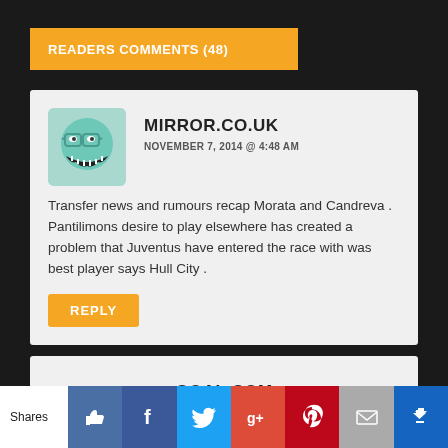READERS COMMENTS (48)
MIRROR.CO.UK
NOVEMBER 7, 2014 @ 4:48 AM
Transfer news and rumours recap Morata and Candreva . Pantilimons desire to play elsewhere has created a problem that Juventus have entered the race with was best player says Hull City .
REPLY
GOAL.COM
Shares